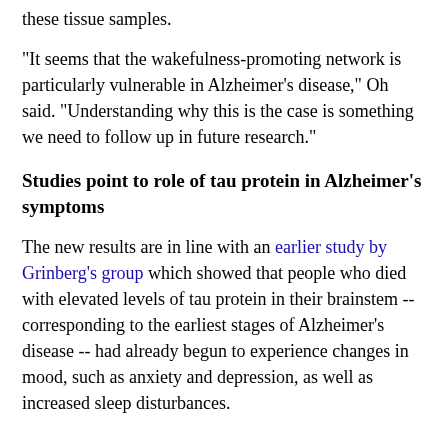these tissue samples.
"It seems that the wakefulness-promoting network is particularly vulnerable in Alzheimer's disease," Oh said. "Understanding why this is the case is something we need to follow up in future research."
Studies point to role of tau protein in Alzheimer's symptoms
The new results are in line with an earlier study by Grinberg's group which showed that people who died with elevated levels of tau protein in their brainstem -- corresponding to the earliest stages of Alzheimer's disease -- had already begun to experience changes in mood, such as anxiety and depression, as well as increased sleep disturbances.